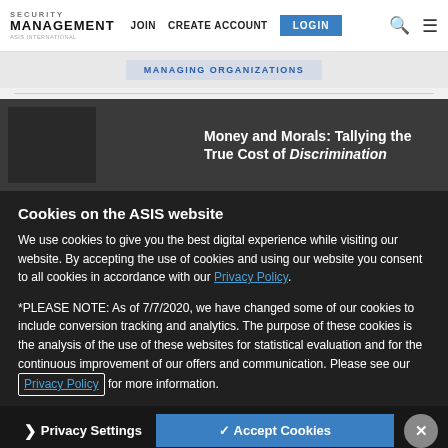SECURITY MANAGEMENT | JOIN | CREATE ACCOUNT | LOGIN
MANAGING ORGANIZATIONS
[Figure (screenshot): Background article thumbnail with text: Money and Morals: Tallying the True Cost of Discrimination]
Cookies on the ASIS website
We use cookies to give you the best digital experience while visiting our website. By accepting the use of cookies and using our website you consent to all cookies in accordance with our Privacy Policy.
*PLEASE NOTE: As of 7/7/2020, we have changed some of our cookies to include conversion tracking and analytics. The purpose of these cookies is the analysis of the use of these websites for statistical evaluation and for the continuous improvement of our offers and communication. Please see our Privacy Policy for more information.
Privacy Settings | ✓ Accept Cookies | ✕